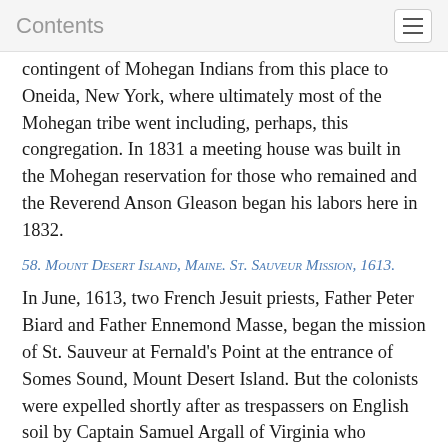Contents
contingent of Mohegan Indians from this place to Oneida, New York, where ultimately most of the Mohegan tribe went including, perhaps, this congregation. In 1831 a meeting house was built in the Mohegan reservation for those who remained and the Reverend Anson Gleason began his labors here in 1832.
58. Mount Desert Island, Maine. St. Sauveur Mission, 1613.
In June, 1613, two French Jesuit priests, Father Peter Biard and Father Ennemond Masse, began the mission of St. Sauveur at Fernald's Point at the entrance of Somes Sound, Mount Desert Island. But the colonists were expelled shortly after as trespassers on English soil by Captain Samuel Argall of Virginia who destroyed the mission and took Father Biard with him to Virginia.
59. Mystic, Conn. Indian Mission at Mystic, 1659.